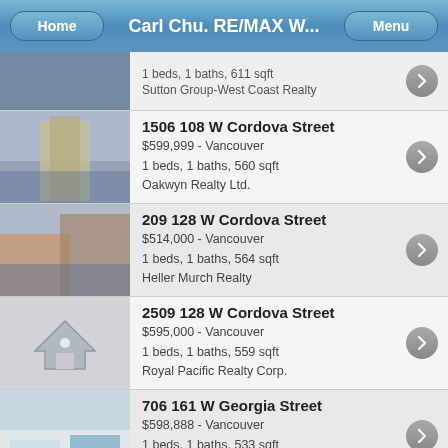Carl Chu. RE/MAX W...
1 beds, 1 baths, 611 sqft
Sutton Group-West Coast Realty
1506 108 W Cordova Street
$599,999 - Vancouver
1 beds, 1 baths, 560 sqft
Oakwyn Realty Ltd.
209 128 W Cordova Street
$514,000 - Vancouver
1 beds, 1 baths, 564 sqft
Heller Murch Realty
2509 128 W Cordova Street
$595,000 - Vancouver
1 beds, 1 baths, 559 sqft
Royal Pacific Realty Corp.
706 161 W Georgia Street
$598,888 - Vancouver
1 beds, 1 baths, 533 sqft
eXp Realty
508 150 E Cordova Street
$489,000 - Vancouver
1 beds, 1 baths, 506 sqft